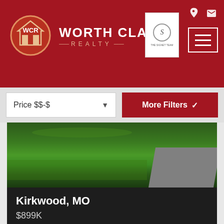[Figure (logo): Worth Clark Realty logo with WCR circle emblem and brand text, plus The Signet Team logo inset]
Price $$-$
More Filters
[Figure (photo): Exterior photo of property with green lawn and driveway in Kirkwood, MO]
Kirkwood, MO
$899K
816 Nirk Avenue
Type	Single Family
Size	3,084 SqFt